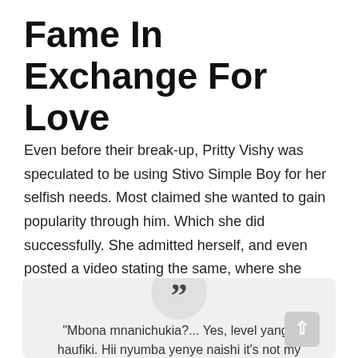Fame In Exchange For Love
Even before their break-up, Pritty Vishy was speculated to be using Stivo Simple Boy for her selfish needs. Most claimed she wanted to gain popularity through him. Which she did successfully. She admitted herself, and even posted a video stating the same, where she called out people trolling her for the same.
[Figure (other): Quote box with large quotation mark icon in a circle at top center, containing the beginning of a quote: "Mbona mnanichukia?... Yes, level yangu haufiki. Hii nyumba yenye naishi it's not my"]
"Mbona mnanichukia?... Yes, level yangu haufiki. Hii nyumba yenye naishi it's not my